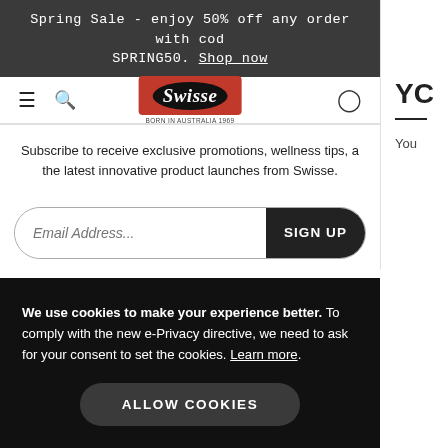Spring Sale - enjoy 50% off any order with code SPRING50. Shop now
[Figure (logo): Swisse logo — white italic text on black oval, on red background, with 'BORN IN AUSTRALIA 1969' subtitle]
Subscribe to receive exclusive promotions, wellness tips, and the latest innovative product launches from Swisse.
Email Address...
SIGN UP
We use cookies to make your experience better. To comply with the new e-Privacy directive, we need to ask for your consent to set the cookies. Learn more.
ALLOW COOKIES